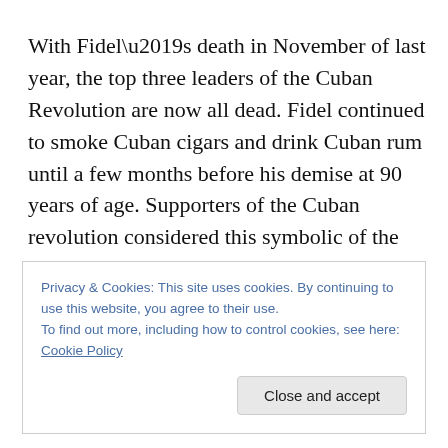With Fidel’s death in November of last year, the top three leaders of the Cuban Revolution are now all dead. Fidel continued to smoke Cuban cigars and drink Cuban rum until a few months before his demise at 90 years of age. Supporters of the Cuban revolution considered this symbolic of the resiliency of the socialist project while its enemies of its doddering senility. But this isn’t yet another
Privacy & Cookies: This site uses cookies. By continuing to use this website, you agree to their use.
To find out more, including how to control cookies, see here: Cookie Policy
Close and accept